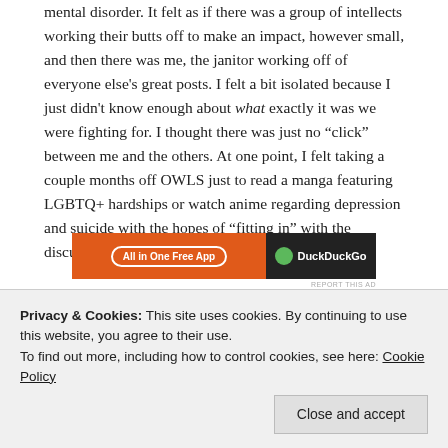mental disorder. It felt as if there was a group of intellects working their butts off to make an impact, however small, and then there was me, the janitor working off of everyone else's great posts. I felt a bit isolated because I just didn't know enough about what exactly it was we were fighting for. I thought there was just no “click” between me and the others. At one point, I felt taking a couple months off OWLS just to read a manga featuring LGBTQ+ hardships or watch anime regarding depression and suicide with the hopes of “fitting in” with the discussions on our Twitter and Discord chats.
[Figure (screenshot): Advertisement banner: orange left side with 'All in One Free App' button, dark right side with DuckDuckGo branding]
Privacy & Cookies: This site uses cookies. By continuing to use this website, you agree to their use.
To find out more, including how to control cookies, see here: Cookie Policy